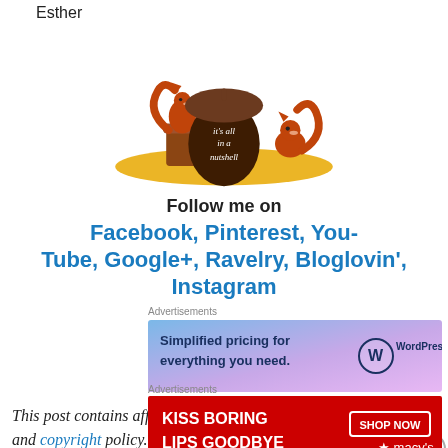Esther
[Figure (illustration): Cute squirrel and acorn illustration with text 'it's all in a nutshell' on a yellow ground with two orange squirrels]
Follow me on
Facebook, Pinterest, You-Tube, Google+, Ravelry, Bloglovin', Instagram
Advertisements
[Figure (screenshot): WordPress.com advertisement: 'Simplified pricing for everything you need.' with WordPress logo]
REPORT THIS AD
This post contains affiliate links. Please read my disclosure and copyright policy. All opinions are my
Advertisements
[Figure (screenshot): Macy's advertisement: 'KISS BORING LIPS GOODBYE' with SHOP NOW button and Macy's logo]